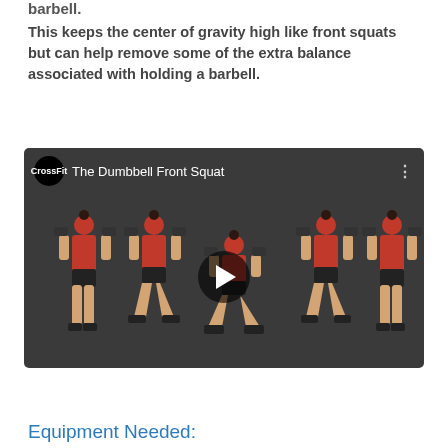barbell.
This keeps the center of gravity high like front squats but can help remove some of the extra balance associated with holding a barbell.
[Figure (screenshot): YouTube video thumbnail showing 'The Dumbbell Front Squat' by CrossFit. Shows four poses of a woman in red top performing dumbbell front squats, with a play button in the center.]
Equipment Needed: